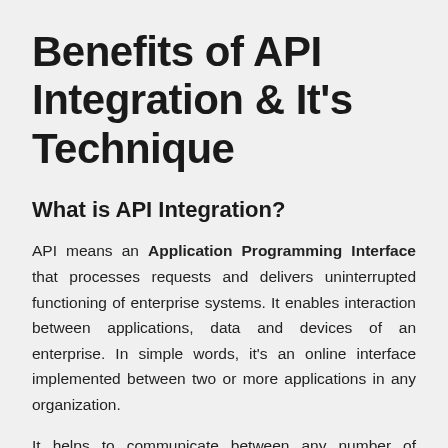Benefits of API Integration & It's Technique
What is API Integration?
API means an Application Programming Interface that processes requests and delivers uninterrupted functioning of enterprise systems. It enables interaction between applications, data and devices of an enterprise. In simple words, it's an online interface implemented between two or more applications in any organization.
It helps to communicate between any number of applications or web tools implemented in software in automation processes. Because of the major benefit of this connectivity